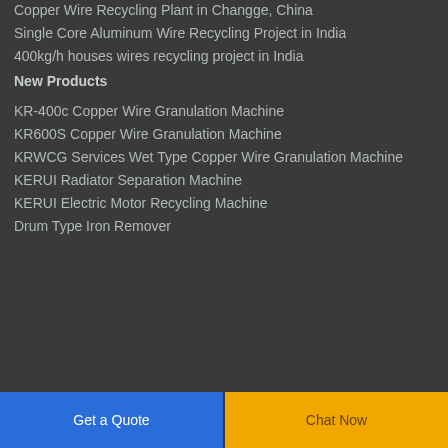Copper Wire Recycling Plant in Changge, China
Single Core Aluminum Wire Recycling Project in India
400kg/h houses wires recycling project in India
New Products
KR-400c Copper Wire Granulation Machine
KR600S Copper Wire Granulation Machine
KRWCG Services Wet Type Copper Wire Granulation Machine
KERUI Radiator Separation Machine
KERUI Electric Motor Recycling Machine
Drum Type Iron Remover
Get a Quote | Chat Now